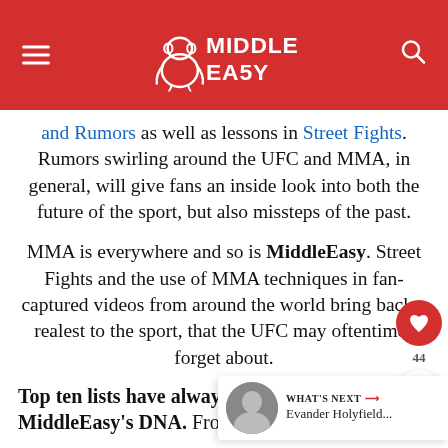MiddleEasy
and Rumors as well as lessons in Street Fights. Rumors swirling around the UFC and MMA, in general, will give fans an inside look into both the future of the sport, but also missteps of the past.
MMA is everywhere and so is MiddleEasy. Street Fights and the use of MMA techniques in fan-captured videos from around the world bring back a realest to the sport, that the UFC may oftentimes forget about.
Top ten lists have always been a major part of MiddleEasy's DNA. From staph infections to